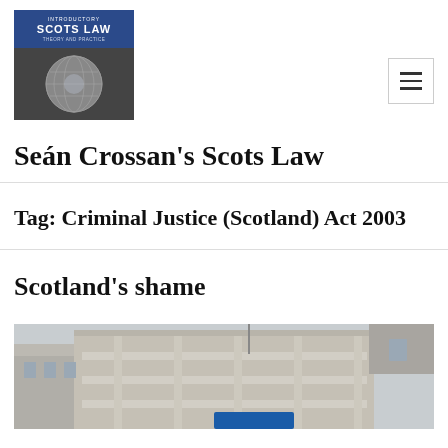[Figure (logo): Introductory Scots Law book cover with globe image below]
[Figure (other): Hamburger menu button]
Seán Crossan's Scots Law
Tag: Criminal Justice (Scotland) Act 2003
Scotland's shame
[Figure (photo): Exterior photo of a stone building, likely a Scottish court or public building]